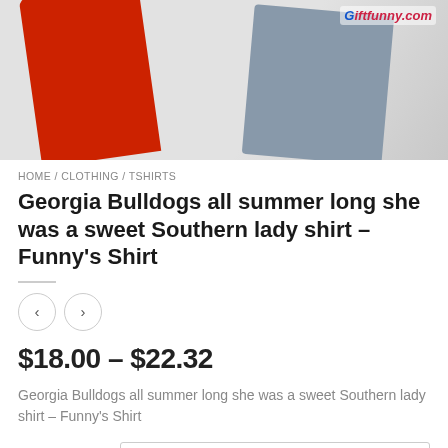[Figure (photo): Product photo of Georgia Bulldogs shirts (red and gray) with Giftfunny.com watermark in top right corner]
HOME / CLOTHING / TSHIRTS
Georgia Bulldogs all summer long she was a sweet Southern lady shirt – Funny's Shirt
$18.00 – $22.32
Georgia Bulldogs all summer long she was a sweet Southern lady shirt – Funny's Shirt
Size T-Shirts  Choose an option